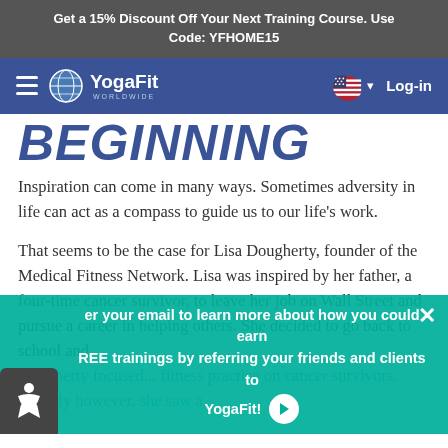Get a 15% Discount Off Your Next Training Course. Use Code: YFHOME15
[Figure (screenshot): YogaFit Worldwide navigation bar with hamburger menu, globe logo, US flag language selector, and Log-in button on blue background]
BEGINNING
Inspiration can come in many ways. Sometimes adversity in life can act as a compass to guide us to our life's work.
That seems to be the case for Lisa Dougherty, founder of the Medical Fitness Network. Lisa was inspired by her father, a four-time cancer survivor, to leave her job on Wall Street and pursue a career in helping others. She decided to go back to school and
Dougherty focused... fitness practice on cancer survivors. Quickly however, she saw a
er your email to learn more about how you could earn REE trainings by referring your friends and clients to YogaFit!